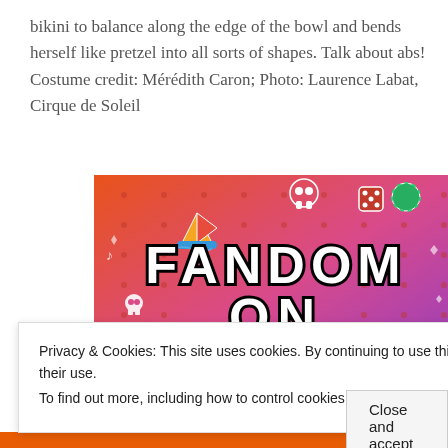bikini to balance along the edge of the bowl and bends herself like pretzel into all sorts of shapes. Talk about abs! Costume credit: Mérédith Caron; Photo: Laurence Labat, Cirque de Soleil
[Figure (illustration): Colorful graphic banner reading 'FANDOM ON tumblr' with orange-to-purple gradient background and various doodle icons (skull, sailboat, dice, music notes, arrows, hearts)]
Privacy & Cookies: This site uses cookies. By continuing to use this website, you agree to their use.
To find out more, including how to control cookies, see here: Cookie Policy